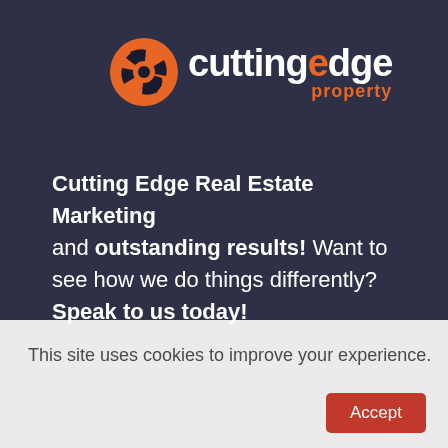[Figure (logo): Cutting Edge Property logo — orange camera aperture icon beside white lowercase 'cuttingedge' text with orange 'property' subtitle]
Cutting Edge Real Estate Marketing and outstanding results! Want to see how we do things differently? Speak to us today!
This site uses cookies to improve your experience.
Accept